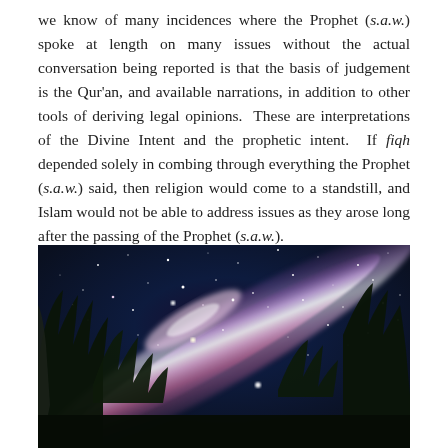we know of many incidences where the Prophet (s.a.w.) spoke at length on many issues without the actual conversation being reported is that the basis of judgement is the Qur'an, and available narrations, in addition to other tools of deriving legal opinions. These are interpretations of the Divine Intent and the prophetic intent. If fiqh depended solely in combing through everything the Prophet (s.a.w.) said, then religion would come to a standstill, and Islam would not be able to address issues as they arose long after the passing of the Prophet (s.a.w.).
[Figure (photo): Night sky photograph showing the Milky Way galaxy as a bright diagonal band of stars and nebulae stretching across the frame, with silhouetted trees (dark foliage) in the foreground and background, and what appears to be a waterfall or rock formation on the left side. The scene is a long-exposure astrophotography shot with vivid purple, pink, and white tones in the galactic band against a deep blue-grey sky filled with stars.]